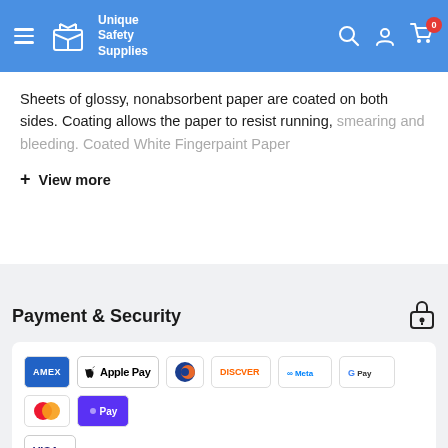Unique Safety Supplies
Sheets of glossy, nonabsorbent paper are coated on both sides. Coating allows the paper to resist running, smearing and bleeding. Coated White Fingerpaint Paper
+ View more
Payment & Security
[Figure (other): Payment method logos: AMEX, Apple Pay, Diners Club, Discover, Meta Pay, Google Pay, Mastercard, Shop Pay, Visa]
Payment types accepted are: Credit Card, PayPal, Bank Wire, Apple Pay, or Shop Pay. No payment installment plans available.
Your payment information is processed securely. We do